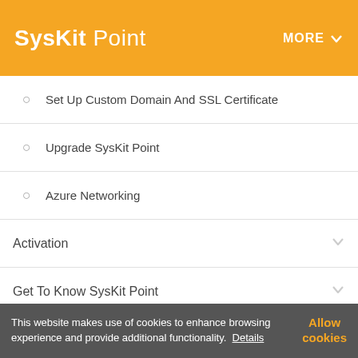SysKit Point  MORE
Set Up Custom Domain And SSL Certificate
Upgrade SysKit Point
Azure Networking
Activation
Get To Know SysKit Point
Configuration
Governance & Automation
Access Management
Configuration Inventory
SysKit Point Power BI Companion
This website makes use of cookies to enhance browsing experience and provide additional functionality. Details  Allow cookies